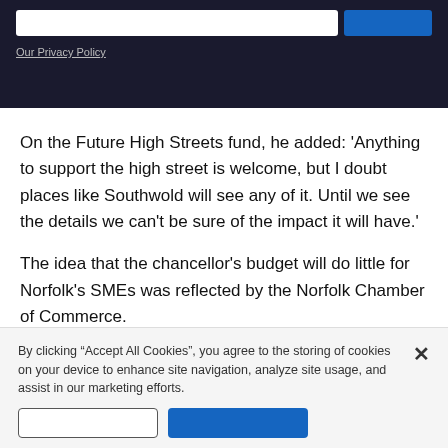[Figure (screenshot): Dark banner with email input field, blue subscribe button, and 'Our Privacy Policy' link in white/gray text]
On the Future High Streets fund, he added: 'Anything to support the high street is welcome, but I doubt places like Southwold will see any of it. Until we see the details we can't be sure of the impact it will have.'
The idea that the chancellor's budget will do little for Norfolk's SMEs was reflected by the Norfolk Chamber of Commerce.
By clicking “Accept All Cookies”, you agree to the storing of cookies on your device to enhance site navigation, analyze site usage, and assist in our marketing efforts.